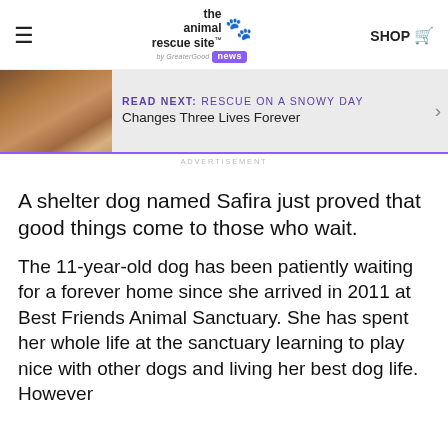the animal rescue site by GreaterGood news | SHOP
[Figure (photo): Navigation bar with hamburger menu icon on left, The Animal Rescue Site logo with purple paw print in center, and SHOP with cart icon on right]
[Figure (photo): READ NEXT banner showing a golden/brown dog sitting near water with text 'Rescue On a Snowy Day Changes Three Lives Forever']
ADVERTISEMENT
A shelter dog named Safira just proved that good things come to those who wait.
The 11-year-old dog has been patiently waiting for a forever home since she arrived in 2011 at Best Friends Animal Sanctuary. She has spent her whole life at the sanctuary learning to play nice with other dogs and living her best dog life. However